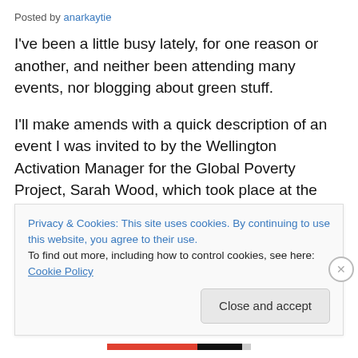Posted by anarkaytie
I've been a little busy lately, for one reason or another, and neither been attending many events, nor blogging about green stuff.
I'll make amends with a quick description of an event I was invited to by the Wellington Activation Manager for the Global Poverty Project, Sarah Wood, which took place at the Banquet Hall of Parliament last night.
MP's Jackie Blue (N) and Steve Chadwick (L) spoke, as
Privacy & Cookies: This site uses cookies. By continuing to use this website, you agree to their use.
To find out more, including how to control cookies, see here: Cookie Policy
Close and accept